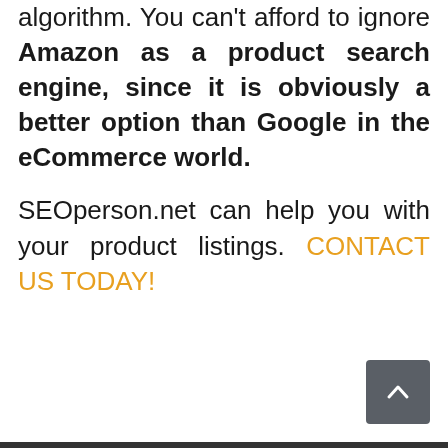algorithm. You can't afford to ignore Amazon as a product search engine, since it is obviously a better option than Google in the eCommerce world.
SEOperson.net can help you with your product listings. CONTACT US TODAY!